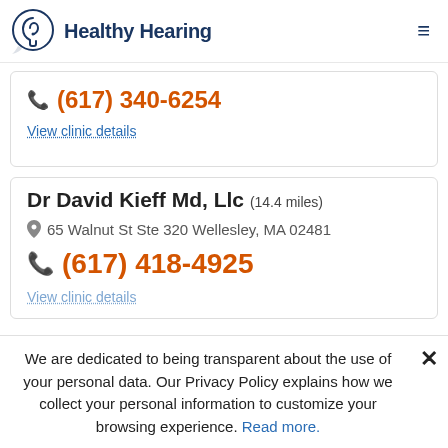Healthy Hearing
(617) 340-6254
View clinic details
Dr David Kieff Md, Llc (14.4 miles)
65 Walnut St Ste 320 Wellesley, MA 02481
(617) 418-4925
We are dedicated to being transparent about the use of your personal data. Our Privacy Policy explains how we collect your personal information to customize your browsing experience. Read more.